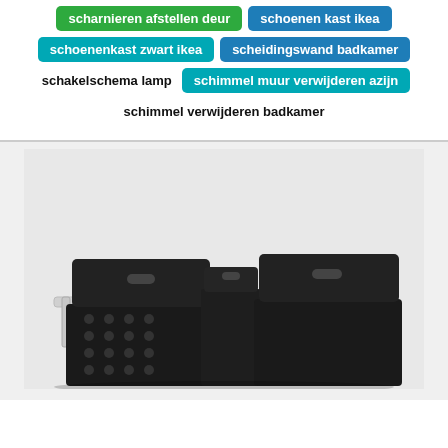scharnieren afstellen deur
schoenen kast ikea
schoenenkast zwart ikea
scheidingswand badkamer
schakelschema lamp
schimmel muur verwijderen azijn
schimmel verwijderen badkamer
[Figure (photo): Two black waste bins with lids mounted on a white metal pull-out rail/frame system, with circular ventilation holes on the front panels]